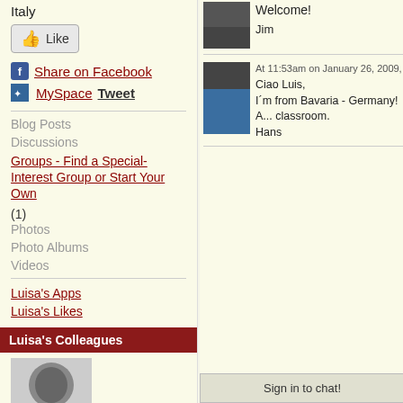Italy
Like
Share on Facebook
MySpace  Tweet
Blog Posts
Discussions
Groups - Find a Special-Interest Group or Start Your Own (1)
Photos
Photo Albums
Videos
Luisa's Apps
Luisa's Likes
Luisa's Colleagues
[Figure (photo): Colleague profile photo thumbnail]
Welcome!
Jim
At 11:53am on January 26, 2009,
Ciao Luis,
I´m from Bavaria - Germany! A... classroom.
Hans
Sign in to chat!